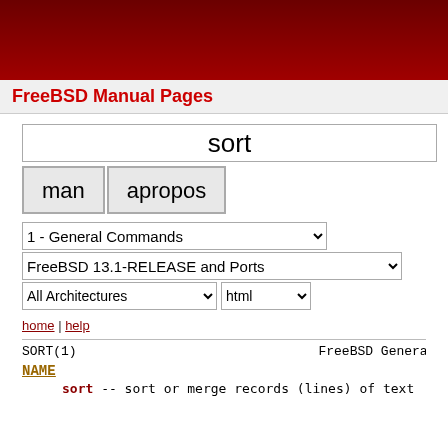FreeBSD Manual Pages
sort (search input)
man | apropos (buttons)
1 - General Commands (dropdown)
FreeBSD 13.1-RELEASE and Ports (dropdown)
All Architectures | html (dropdowns)
home | help
SORT(1)   FreeBSD General Commands M
NAME
sort -- sort or merge records (lines) of text